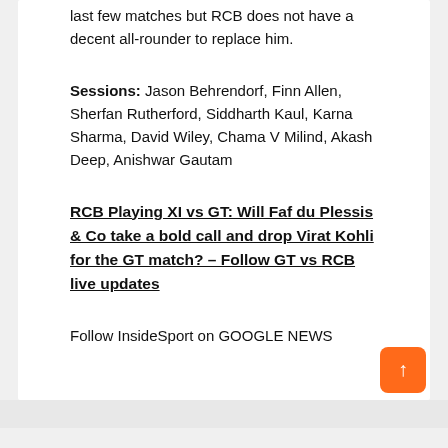last few matches but RCB does not have a decent all-rounder to replace him.
Sessions: Jason Behrendorf, Finn Allen, Sherfan Rutherford, Siddharth Kaul, Karna Sharma, David Wiley, Chama V Milind, Akash Deep, Anishwar Gautam
RCB Playing XI vs GT: Will Faf du Plessis & Co take a bold call and drop Virat Kohli for the GT match? – Follow GT vs RCB live updates
Follow InsideSport on GOOGLE NEWS